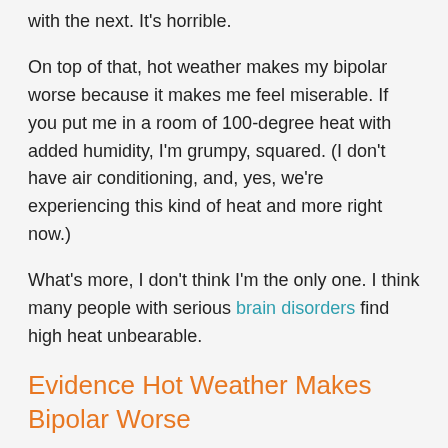with the next. It's horrible.
On top of that, hot weather makes my bipolar worse because it makes me feel miserable. If you put me in a room of 100-degree heat with added humidity, I'm grumpy, squared. (I don't have air conditioning, and, yes, we're experiencing this kind of heat and more right now.)
What's more, I don't think I'm the only one. I think many people with serious brain disorders find high heat unbearable.
Evidence Hot Weather Makes Bipolar Worse
Additional to how I personally feel about hot weather and bipolar disorder, there is some evidence that hot weather impacts mental health. According to "Associations Between High Ambient Temperatures and Heat Waves with Mental Health Outcomes: A Systematic Review," the